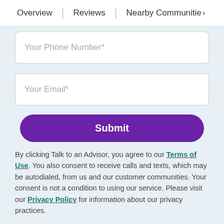Overview | Reviews | Nearby Communities >
Your Phone Number*
Your Email*
Submit
By clicking Talk to an Advisor, you agree to our Terms of Use. You also consent to receive calls and texts, which may be autodialed, from us and our customer communities. Your consent is not a condition to using our service. Please visit our Privacy Policy for information about our privacy practices.